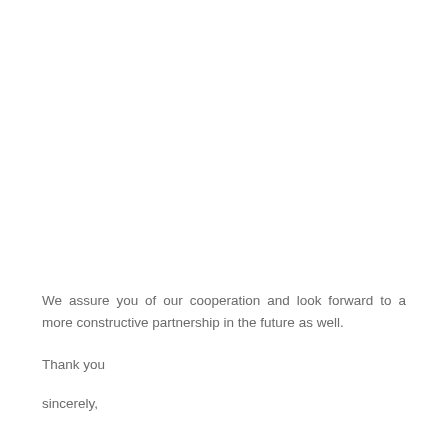We assure you of our cooperation and look forward to a more constructive partnership in the future as well.
Thank you
sincerely,